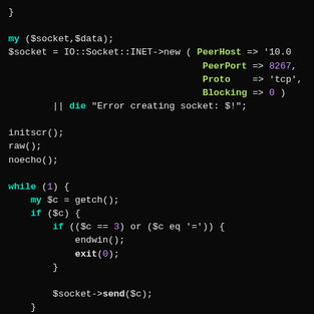[Figure (screenshot): Syntax-highlighted Perl source code on a dark background. Shows socket creation with IO::Socket::INET, curses initialization (initscr, raw, noecho), and a while(1) loop reading characters and sending via socket.]